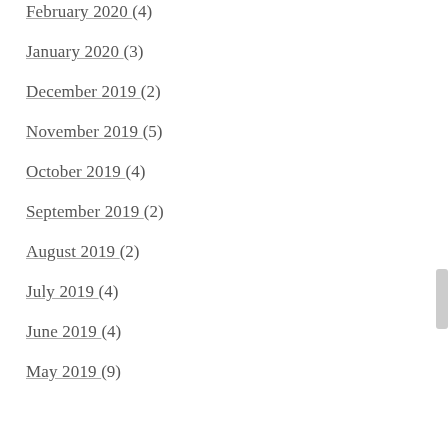February 2020 (4)
January 2020 (3)
December 2019 (2)
November 2019 (5)
October 2019 (4)
September 2019 (2)
August 2019 (2)
July 2019 (4)
June 2019 (4)
May 2019 (9)